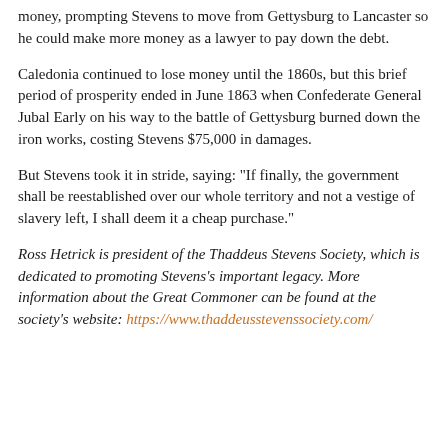money, prompting Stevens to move from Gettysburg to Lancaster so he could make more money as a lawyer to pay down the debt.
Caledonia continued to lose money until the 1860s, but this brief period of prosperity ended in June 1863 when Confederate General Jubal Early on his way to the battle of Gettysburg burned down the iron works, costing Stevens $75,000 in damages.
But Stevens took it in stride, saying: "If finally, the government shall be reestablished over our whole territory and not a vestige of slavery left, I shall deem it a cheap purchase."
Ross Hetrick is president of the Thaddeus Stevens Society, which is dedicated to promoting Stevens's important legacy. More information about the Great Commoner can be found at the society's website: https://www.thaddeusstevenssociety.com/